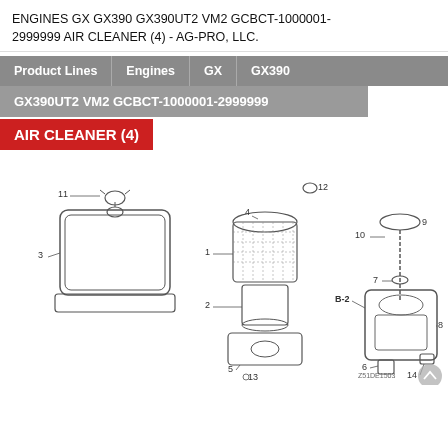ENGINES GX GX390 GX390UT2 VM2 GCBCT-1000001-2999999 AIR CLEANER (4) - AG-PRO, LLC.
Product Lines | Engines | GX | GX390
GX390UT2 VM2 GCBCT-1000001-2999999
AIR CLEANER (4)
[Figure (engineering-diagram): Exploded view engineering diagram of an air cleaner assembly for Honda GX390 engine. Shows parts labeled 1-14 including air cleaner housing (3), filter elements (1, 2), base plate (5), wing nut (11), clips, bolts, and an oil bath air cleaner assembly on the right side with parts 6-10, 14. Part B-2 is also labeled. Diagram includes call-out lines to each numbered component.]